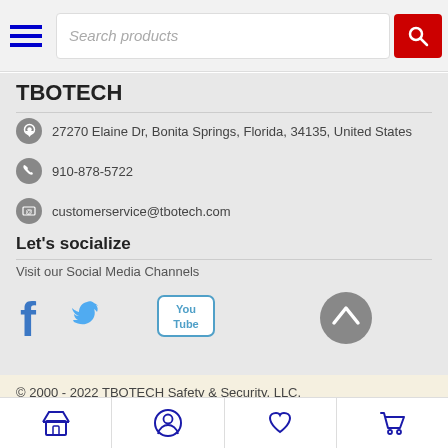Search products
TBOTECH
27270 Elaine Dr, Bonita Springs, Florida, 34135, United States
910-878-5722
customerservice@tbotech.com
Let's socialize
Visit our Social Media Channels
[Figure (logo): Facebook, Twitter, and YouTube social media icons]
© 2000 - 2022 TBOTECH Safety & Security, LLC.
[Figure (infographic): Bottom navigation bar with store, account, wishlist, and cart icons]